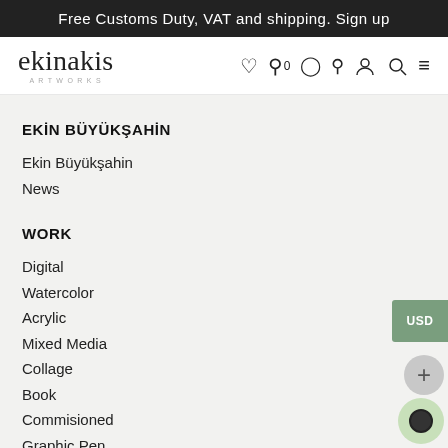Free Customs Duty, VAT and shipping. Sign up
[Figure (logo): ekinakis artworks logo in cursive handwriting style with 'artworks' subtitle]
EKİN BÜYÜKŞAHİN
Ekin Büyükşahin
News
WORK
Digital
Watercolor
Acrylic
Mixed Media
Collage
Book
Commisioned
Graphic Pen
Gouache